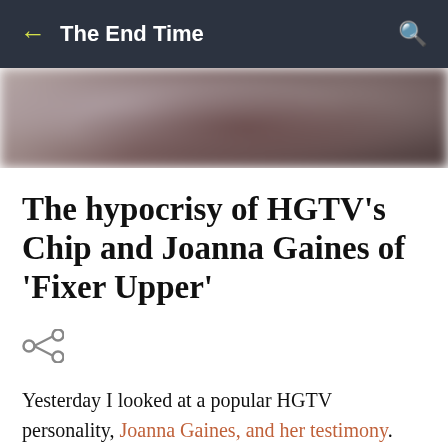← The End Time 🔍
[Figure (photo): Blurred hero image, dark warm tones, appears to show a person in background]
The hypocrisy of HGTV's Chip and Joanna Gaines of 'Fixer Upper'
[Figure (other): Share icon (less-than-sign style share symbol)]
Yesterday I looked at a popular HGTV personality, Joanna Gaines, and her testimony. She and her husband Chip are stars of a new show that are